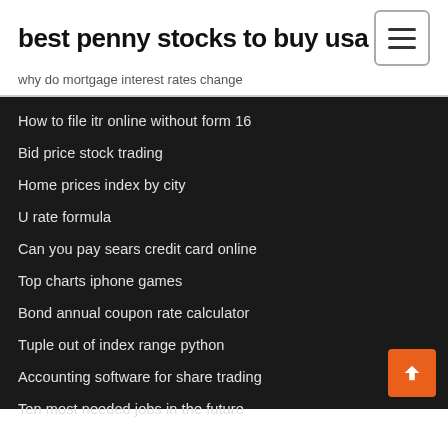best penny stocks to buy usa
why do mortgage interest rates change
How to file itr online without form 16
Bid price stock trading
Home prices index by city
U rate formula
Can you pay sears credit card online
Top charts iphone games
Bond annual coupon rate calculator
Tuple out of index range python
Accounting software for share trading
Ten most needed jobs in the future